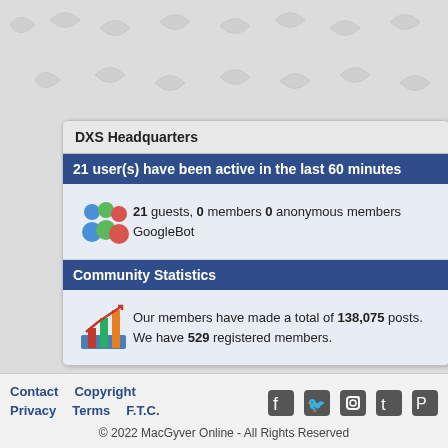DXS Headquarters
21 user(s) have been active in the last 60 minutes
21 guests, 0 members 0 anonymous members
GoogleBot
Community Statistics
Our members have made a total of 138,075 posts. We have 529 registered members.
Contact  Copyright  Privacy  Terms  F.T.C.
© 2022 MacGyver Online - All Rights Reserved